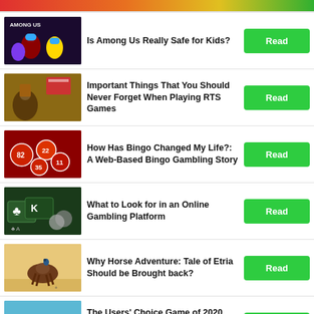[Figure (screenshot): Partial top thumbnail (colorful game logo, partially visible at top of page)]
Is Among Us Really Safe for Kids?
Important Things That You Should Never Forget When Playing RTS Games
How Has Bingo Changed My Life?: A Web-Based Bingo Gambling Story
What to Look for in an Online Gambling Platform
Why Horse Adventure: Tale of Etria Should be Brought back?
The Users' Choice Game of 2020 Award on Google Play Goes to Spongebob: Krusty Cook-Off!